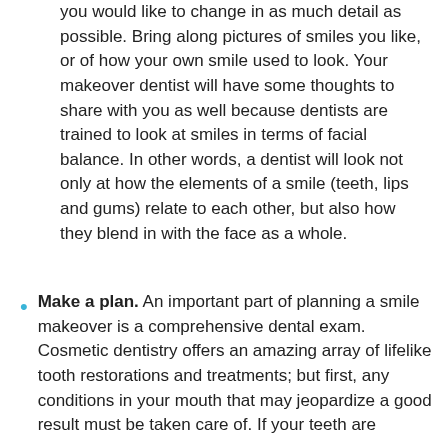you would like to change in as much detail as possible. Bring along pictures of smiles you like, or of how your own smile used to look. Your makeover dentist will have some thoughts to share with you as well because dentists are trained to look at smiles in terms of facial balance. In other words, a dentist will look not only at how the elements of a smile (teeth, lips and gums) relate to each other, but also how they blend in with the face as a whole.
Make a plan. An important part of planning a smile makeover is a comprehensive dental exam. Cosmetic dentistry offers an amazing array of lifelike tooth restorations and treatments; but first, any conditions in your mouth that may jeopardize a good result must be taken care of. If your teeth are